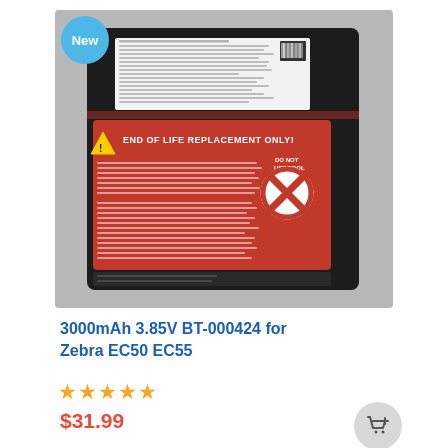[Figure (photo): A black and red Zebra BT-000424 3000mAh 3.85V replacement battery with 'END OF LIFE REPLACEMENT ONLY' warning label in red, shown against a gray textured background. A 'New' badge in blue is overlaid on the top-left corner of the image.]
3000mAh 3.85V BT-000424 for Zebra EC50 EC55
★★★★★
$31.99